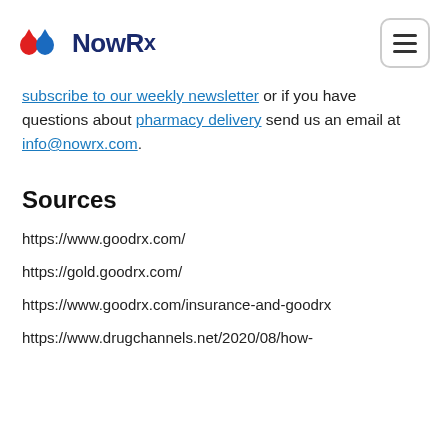NowRx
subscribe to our weekly newsletter or if you have questions about pharmacy delivery send us an email at info@nowrx.com.
Sources
https://www.goodrx.com/
https://gold.goodrx.com/
https://www.goodrx.com/insurance-and-goodrx
https://www.drugchannels.net/2020/08/how-